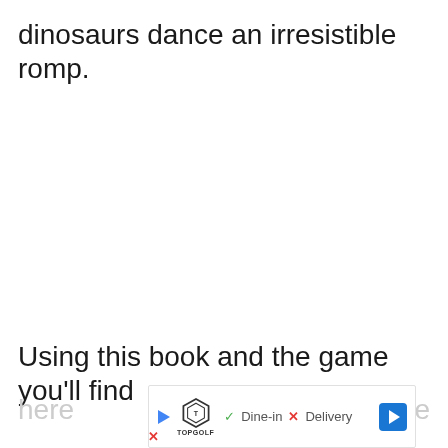dinosaurs dance an irresistible romp.
Using this book and the game you'll find
here … ame